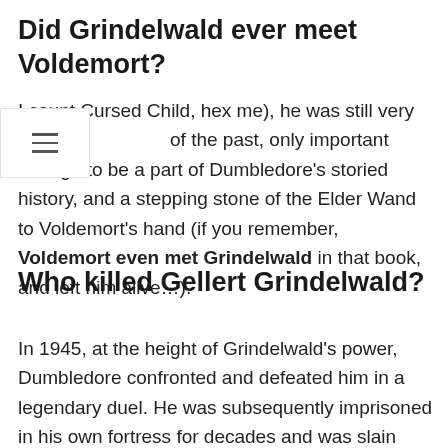Did Grindelwald ever meet Voldemort?
I count Cursed Child, hex me), he was still very much a of the past, only important enough to be a part of Dumbledore's storied history, and a stepping stone of the Elder Wand to Voldemort's hand (if you remember, Voldemort even met Grindelwald in that book, and left him alive…).
Who killed Gellert Grindelwald?
In 1945, at the height of Grindelwald's power, Dumbledore confronted and defeated him in a legendary duel. He was subsequently imprisoned in his own fortress for decades and was slain there by Lord